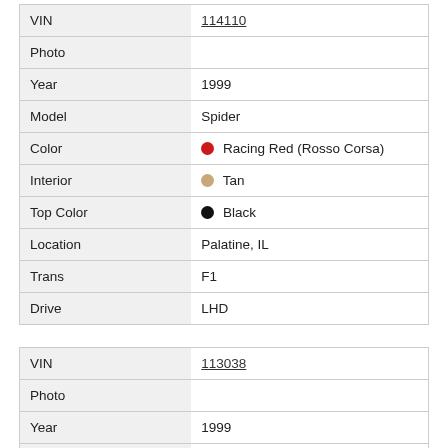| Field | Value |
| --- | --- |
| VIN | 114110 |
| Photo |  |
| Year | 1999 |
| Model | Spider |
| Color | Racing Red (Rosso Corsa) |
| Interior | Tan |
| Top Color | Black |
| Location | Palatine, IL |
| Trans | F1 |
| Drive | LHD |
| Field | Value |
| --- | --- |
| VIN | 113038 |
| Photo |  |
| Year | 1999 |
| Model | Spider |